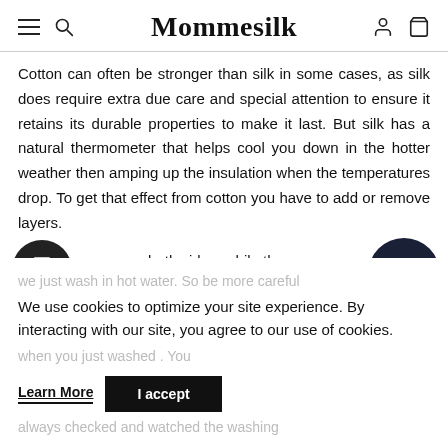Mommesilk
Cotton can often be stronger than silk in some cases, as silk does require extra due care and special attention to ensure it retains its durable properties to make it last. But silk has a natural thermometer that helps cool you down in the hotter weather then amping up the insulation when the temperatures drop. To get that effect from cotton you have to add or remove layers.
Silk is the same on both sides, while the manufacturing process leaves satin with a dull...
We use cookies to optimize your site experience. By interacting with our site, you agree to our use of cookies.
we just wash in hot water. So be more careful when you just washed... You always checked and watched the washing